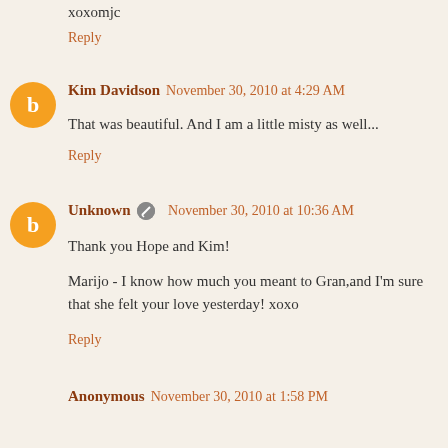xoxomjc
Reply
Kim Davidson  November 30, 2010 at 4:29 AM
That was beautiful. And I am a little misty as well...
Reply
Unknown  November 30, 2010 at 10:36 AM
Thank you Hope and Kim!
Marijo - I know how much you meant to Gran,and I'm sure that she felt your love yesterday! xoxo
Reply
Anonymous  November 30, 2010 at 1:58 PM